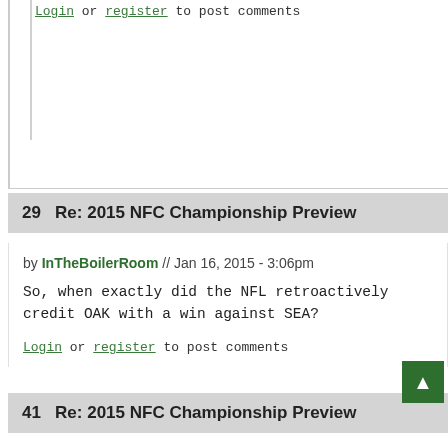Login or register to post comments
29   Re: 2015 NFC Championship Preview
by InTheBoilerRoom // Jan 16, 2015 - 3:06pm
So, when exactly did the NFL retroactively credit OAK with a win against SEA?
Login or register to post comments
41   Re: 2015 NFC Championship Preview